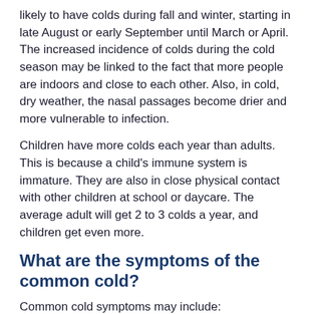likely to have colds during fall and winter, starting in late August or early September until March or April. The increased incidence of colds during the cold season may be linked to the fact that more people are indoors and close to each other. Also, in cold, dry weather, the nasal passages become drier and more vulnerable to infection.
Children have more colds each year than adults. This is because a child's immune system is immature. They are also in close physical contact with other children at school or daycare. The average adult will get 2 to 3 colds a year, and children get even more.
What are the symptoms of the common cold?
Common cold symptoms may include:
Stuffy, runny nose
Mucus dripping down your throat (postnasal drip)